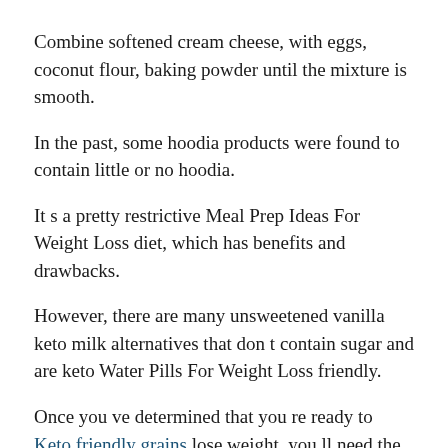Combine softened cream cheese, with eggs, coconut flour, baking powder until the mixture is smooth.
In the past, some hoodia products were found to contain little or no hoodia.
It s a pretty restrictive Meal Prep Ideas For Weight Loss diet, which has benefits and drawbacks.
However, there are many unsweetened vanilla keto milk alternatives that don t contain sugar and are keto Water Pills For Weight Loss friendly.
Once you ve determined that you re ready to Keto friendly grains lose weight, you ll need the proper tools to set your plan Water Pills For Weight Loss in motion.